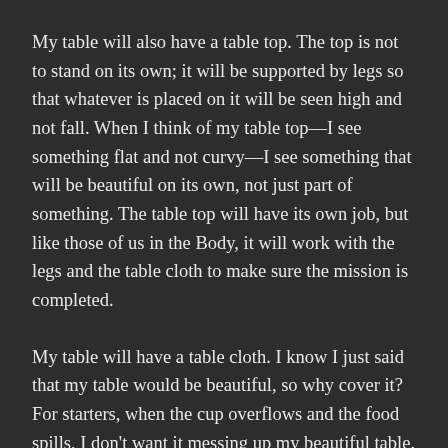My table will also have a table top. The top is not to stand on its own; it will be supported by legs so that whatever is placed on it will be seen high and not fall. When I think of my table top—I see something flat and not curvy—I see something that will be beautiful on its own, not just part of something. The table top will have its own job, but like those of us in the Body, it will work with the legs and the table cloth to make sure the mission is completed.
My table will have a table cloth. I know I just said that my table would be beautiful, so why cover it? For starters, when the cup overflows and the food spills, I don't want it messing up my beautiful table. I say that to say that if you are choosing to follow Isaiah David Paul and by next year for my romance readers, Courtney Isa Goodman as well as the new pseudonym that I will write young adult fiction under, please do not expect me to be perfect. I will fall short many times before the table is built and I will fall short even after the table has been set and the food and drinks are served. I see my enemies trying